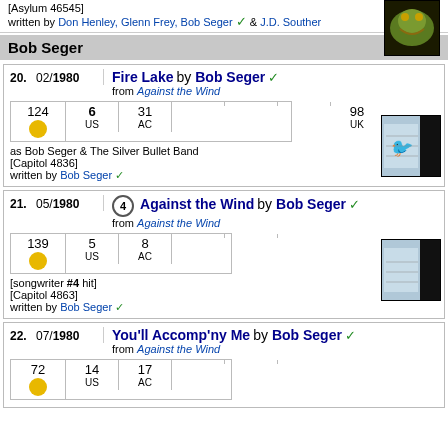[Asylum 46545] written by Don Henley, Glenn Frey, Bob Seger ✓ & J.D. Souther
Bob Seger
20. 02/1980 Fire Lake by Bob Seger ✓ from Against the Wind. 124 gold, 6 US, 31 AC, 98 UK. as Bob Seger & The Silver Bullet Band [Capitol 4836] written by Bob Seger ✓
21. 05/1980 ④ Against the Wind by Bob Seger ✓ from Against the Wind. 139 gold, 5 US, 8 AC. [songwriter #4 hit] [Capitol 4863] written by Bob Seger ✓
22. 07/1980 You'll Accomp'ny Me by Bob Seger ✓ from Against the Wind. 72 gold, 14 US, 17 AC.